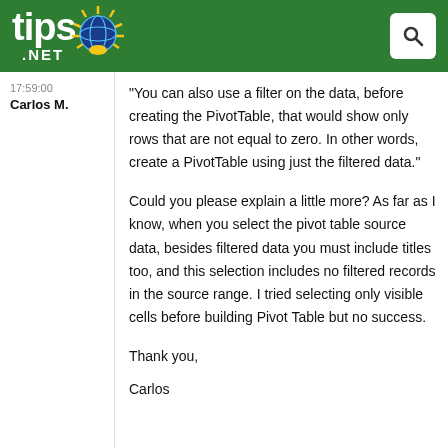tips.net
17:59:00
Carlos M.
"You can also use a filter on the data, before creating the PivotTable, that would show only rows that are not equal to zero. In other words, create a PivotTable using just the filtered data."
Could you please explain a little more? As far as I know, when you select the pivot table source data, besides filtered data you must include titles too, and this selection includes no filtered records in the source range. I tried selecting only visible cells before building Pivot Table but no success.
Thank you,
Carlos